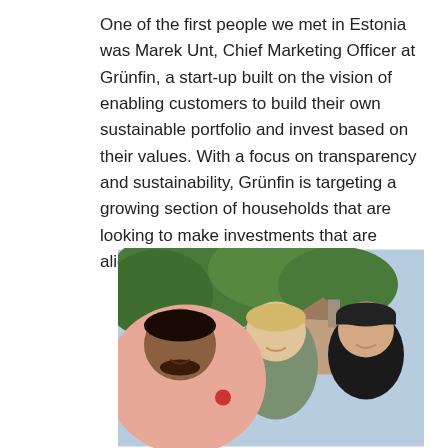One of the first people we met in Estonia was Marek Unt, Chief Marketing Officer at Grünfin, a start-up built on the vision of enabling customers to build their own sustainable portfolio and invest based on their values. With a focus on transparency and sustainability, Grünfin is targeting a growing section of households that are looking to make investments that are aligned with their values.
[Figure (photo): Outdoor photo of three men smiling for a selfie, with trees and a building with a chimney visible in the background. The man on the left wears a pink shirt, the man in the middle wears a grey-green shirt, and the man on the right wears a black cap and dark top.]